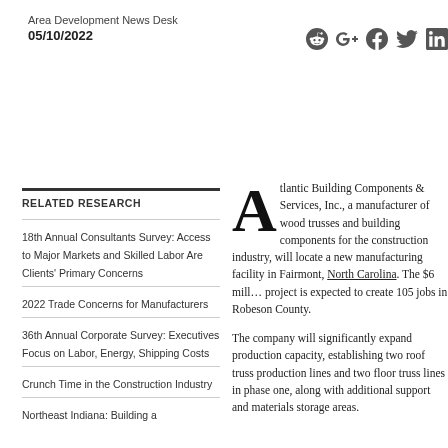Area Development News Desk
05/10/2022
[Figure (other): Social media icons: Reddit, Google+, Facebook, Twitter, LinkedIn]
RELATED RESEARCH
18th Annual Consultants Survey: Access to Major Markets and Skilled Labor Are Clients' Primary Concerns
2022 Trade Concerns for Manufacturers
36th Annual Corporate Survey: Executives Focus on Labor, Energy, Shipping Costs
Crunch Time in the Construction Industry
Northeast Indiana: Building a
Atlantic Building Components & Services, Inc., a manufacturer of wood trusses and building components for the construction industry, will locate a new manufacturing facility in Fairmont, North Carolina. The $6 million project is expected to create 105 jobs in Robeson County.
The company will significantly expand production capacity, establishing two roof truss production lines and two floor truss lines in phase one, along with additional support and materials storage areas.